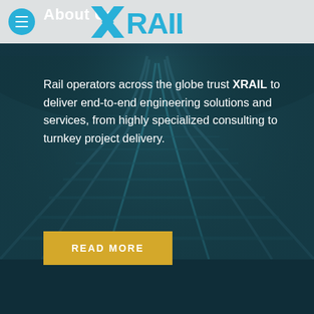[Figure (screenshot): XRAIL company website screenshot showing 'About Us' page with XRAIL logo, rail track background image with teal overlay, descriptive text about engineering solutions, and a yellow READ MORE button]
About Us
Rail operators across the globe trust XRAIL to deliver end-to-end engineering solutions and services, from highly specialized consulting to turnkey project delivery.
READ MORE